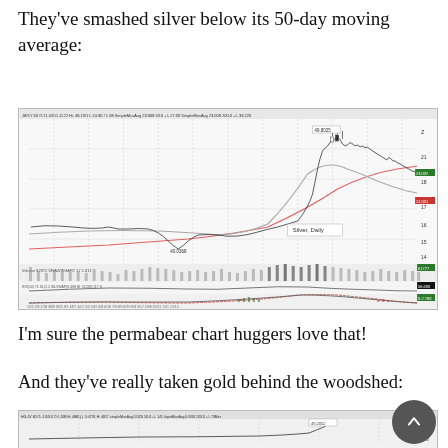They've smashed silver below its 50-day moving average:
[Figure (continuous-plot): Silver Daily candlestick chart with 50-day and 200-day moving averages, volume bars, RSI indicator, and MACD indicator at the bottom. The chart shows a silver price rally to a high around 29-30 followed by a pullback below the 50-day moving average. Label 'Silver, Daily' appears on the chart.]
I'm sure the permabear chart huggers love that!
And they've really taken gold behind the woodshed:
[Figure (continuous-plot): Gold Daily candlestick chart (partial, bottom of page), showing a recent price spike to a high around 1900+ followed by a sharp selloff.]